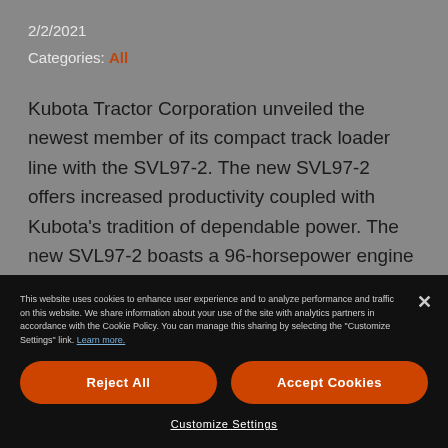2/2/2021
Categories: All
Kubota Tractor Corporation unveiled the newest member of its compact track loader line with the SVL97-2. The new SVL97-2 offers increased productivity coupled with Kubota's tradition of dependable power. The new SVL97-2 boasts a 96-horsepower engine with a rated operating
This website uses cookies to enhance user experience and to analyze performance and traffic on this website. We share information about your use of the site with analytics partners in accordance with the Cookie Policy. You can manage this sharing by selecting the "Customize Settings" link. Learn more.
Reject All
Accept Cookies
Customize Settings